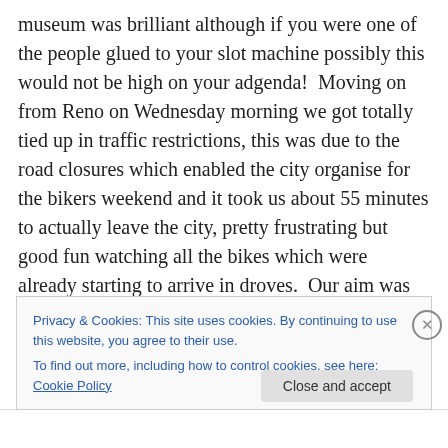museum was brilliant although if you were one of the people glued to your slot machine possibly this would not be high on your adgenda!  Moving on from Reno on Wednesday morning we got totally tied up in traffic restrictions, this was due to the road closures which enabled the city organise for the bikers weekend and it took us about 55 minutes to actually leave the city, pretty frustrating but good fun watching all the bikes which were already starting to arrive in droves.  Our aim was to get to Yosemite but we got diverted along the way when we arrived at Mono lake and discovered that we were only a
Privacy & Cookies: This site uses cookies. By continuing to use this website, you agree to their use.
To find out more, including how to control cookies, see here: Cookie Policy
Close and accept